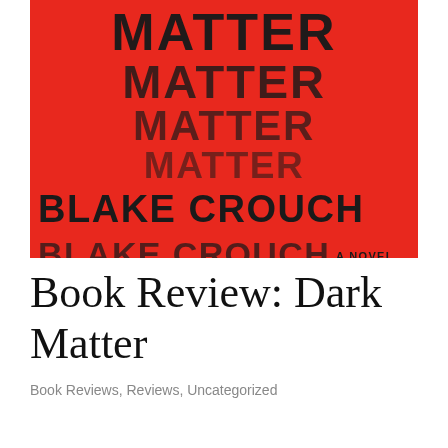[Figure (illustration): Book cover of 'Dark Matter' by Blake Crouch. Red background with the word MATTER repeated in large black bold text multiple times in decreasing size/opacity, creating a fading effect. Author name BLAKE CROUCH in large black bold letters. Subtitle 'A NOVEL' in smaller text.]
Book Review: Dark Matter
Book Reviews, Reviews, Uncategorized